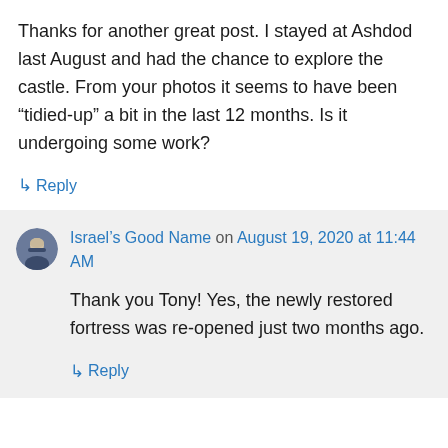Thanks for another great post. I stayed at Ashdod last August and had the chance to explore the castle. From your photos it seems to have been “tidied-up” a bit in the last 12 months. Is it undergoing some work?
↳ Reply
Israel’s Good Name on August 19, 2020 at 11:44 AM
Thank you Tony! Yes, the newly restored fortress was re-opened just two months ago.
↳ Reply